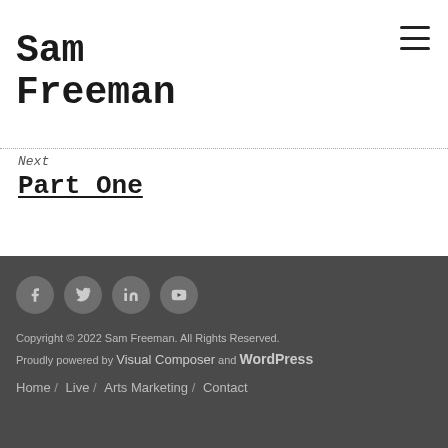Sam Freeman
Next
Part One
Copyright © 2022 Sam Freeman. All Rights Reserved. Proudly powered by Visual Composer and WordPress
Home / Live / Arts Marketing / Contact